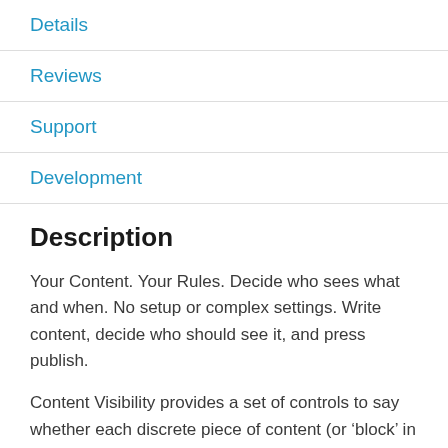Details
Reviews
Support
Development
Description
Your Content. Your Rules. Decide who sees what and when. No setup or complex settings. Write content, decide who should see it, and press publish.
Content Visibility provides a set of controls to say whether each discrete piece of content (or ‘block’ in WordPress parlance) should be shown to users who are signed in to your site or not. Additional add-ons provide controls for role-based visibility, time-